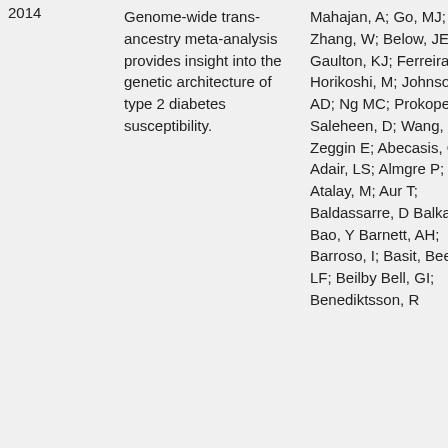| Year | Title | Authors |
| --- | --- | --- |
| 2014 | Genome-wide trans-ancestry meta-analysis provides insight into the genetic architecture of type 2 diabetes susceptibility. | Mahajan, A; Go, MJ; Zhang, W; Below, JE; Gaulton, KJ; Ferreira, T; Horikoshi, M; Johnson, AD; Ng MC; Prokopenko, Saleheen, D; Wang, X; Zeggin E; Abecasis, GR; Adair, LS; Almgre P; Atalay, M; Aur T; Baldassarre, D Balkau, B; Bao, Y Barnett, AH; Barroso, I; Basit, Been, LF; Beilby Bell, GI; Benediktsson, R |